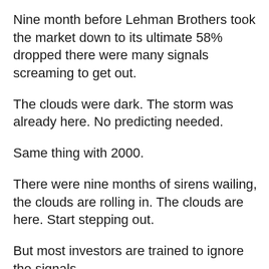Nine month before Lehman Brothers took the market down to its ultimate 58% dropped there were many signals screaming to get out.
The clouds were dark. The storm was already here. No predicting needed.
Same thing with 2000.
There were nine months of sirens wailing, the clouds are rolling in. The clouds are here. Start stepping out.
But most investors are trained to ignore the signals.
Most are trained to “ride it out” by having a